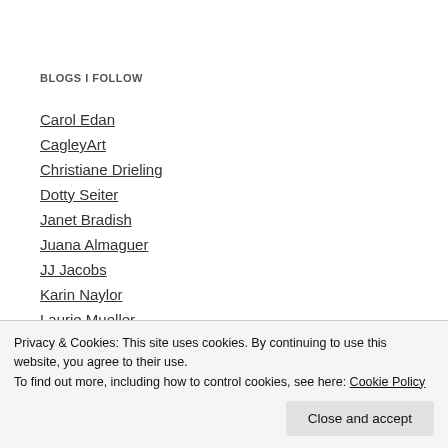BLOGS I FOLLOW
Carol Edan
CagleyArt
Christiane Drieling
Dotty Seiter
Janet Bradish
Juana Almaguer
JJ Jacobs
Karin Naylor
Laurie Mueller
Privacy & Cookies: This site uses cookies. By continuing to use this website, you agree to their use. To find out more, including how to control cookies, see here: Cookie Policy
Close and accept